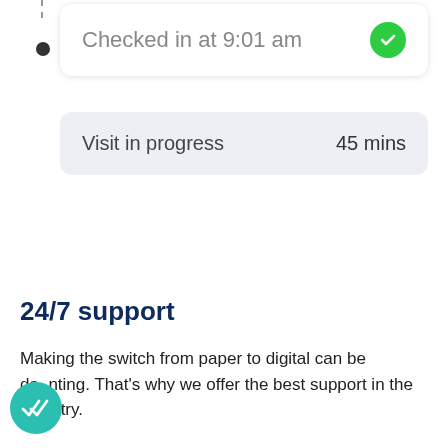[Figure (screenshot): App UI card showing 'Checked in at 9:01 am' with a green checkmark circle on the right]
[Figure (screenshot): App UI card showing 'Visit in progress' on the left and '45 mins' on the right, on a light gray background]
24/7 support
Making the switch from paper to digital can be daunting. That's why we offer the best support in the industry.
[Figure (logo): Teal circular badge with double checkmark icon]